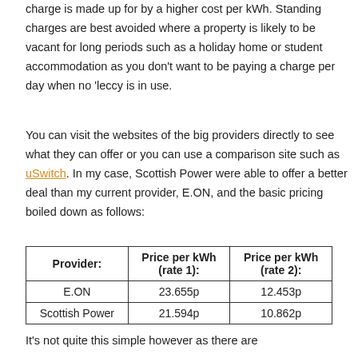charge is made up for by a higher cost per kWh. Standing charges are best avoided where a property is likely to be vacant for long periods such as a holiday home or student accommodation as you don't want to be paying a charge per day when no 'leccy is in use.
You can visit the websites of the big providers directly to see what they can offer or you can use a comparison site such as uSwitch. In my case, Scottish Power were able to offer a better deal than my current provider, E.ON, and the basic pricing boiled down as follows:
| Provider: | Price per kWh (rate 1): | Price per kWh (rate 2): |
| --- | --- | --- |
| E.ON | 23.655p | 12.453p |
| Scottish Power | 21.594p | 10.862p |
It's not quite this simple however as there are